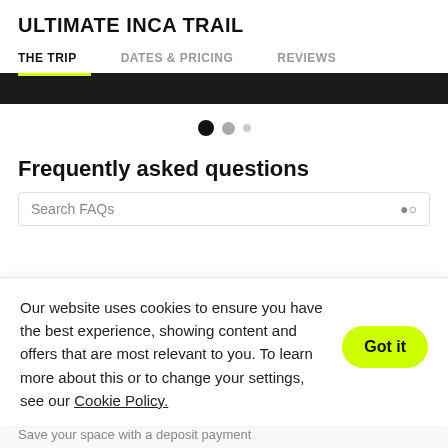ULTIMATE INCA TRAIL
THE TRIP | DATES & PRICING | REVIEWS
[Figure (screenshot): Dark image strip representing a photo of the Inca Trail with carousel dots below]
Frequently asked questions
Search FAQs
Our website uses cookies to ensure you have the best experience, showing content and offers that are most relevant to you. To learn more about this or to change your settings, see our Cookie Policy.
Save your space with a deposit payment